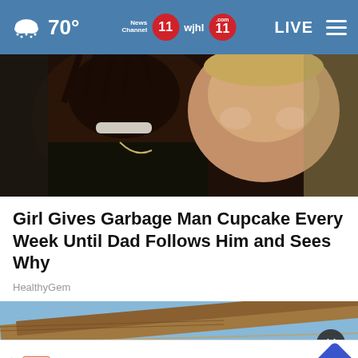70° | News Channel 11 | wjhl 11 | LIVE
[Figure (photo): A smiling Black man with dreadlocks and beard posing with a smiling toddler with light hair, both looking at the camera]
Girl Gives Garbage Man Cupcake Every Week Until Dad Follows Him and Sees Why
HealthyGem
[Figure (photo): Outdoor scene showing roof or wooden structure with gloved hand, blue sky in background]
Dine-in  Curbside pickup